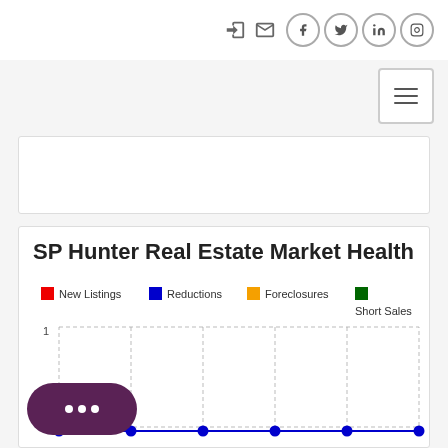Navigation icons: login, email, Facebook, Twitter, LinkedIn, Instagram; hamburger menu
[Figure (other): Empty white banner/advertisement placeholder box]
SP Hunter Real Estate Market Health
[Figure (bar-chart): Bar/line chart showing New Listings (red), Reductions (blue), Foreclosures (orange), Short Sales (green). Chart area appears mostly empty with a blue line along the x-axis baseline with circular data points.]